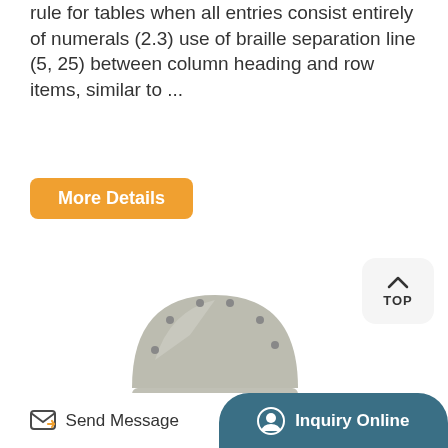rule for tables when all entries consist entirely of numerals (2.3) use of braille separation line (5, 25) between column heading and row items, similar to ...
More Details
[Figure (photo): Industrial braille embossing machine on a metal stand with a curved dome-shaped top, viewed from the side. A watermark '777' is overlaid on the image.]
Send Message   Inquiry Online